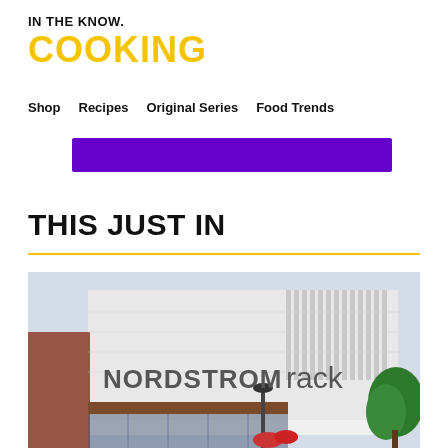IN THE KNOW. COOKING
Shop  Recipes  Original Series  Food Trends
[Figure (other): Purple rectangular banner/advertisement strip]
THIS JUST IN
[Figure (photo): Exterior photograph of a Nordstrom Rack retail store building with large signage reading 'NORDSTROM rack', white modern facade with vertical panel detailing, green trees visible on the right side, and a street lamp in front.]